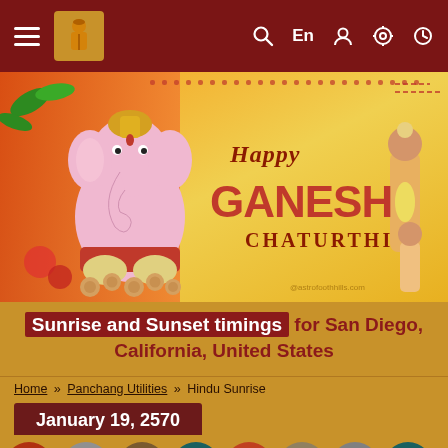Navigation bar with menu, logo, search, En, user, settings, clock icons
[Figure (illustration): Happy Ganesh Chaturthi banner with Ganesha illustration in orange/yellow background with decorative elements and Hindu figures]
Sunrise and Sunset timings for San Diego, California, United States
Home » Panchang Utilities » Hindu Sunrise
January 19, 2570
[Figure (illustration): Row of zodiac sign icons: Mesha, Vrishabha, Mithuna, Karka, Simha, Kanya, Tula, Vrish (partially visible)]